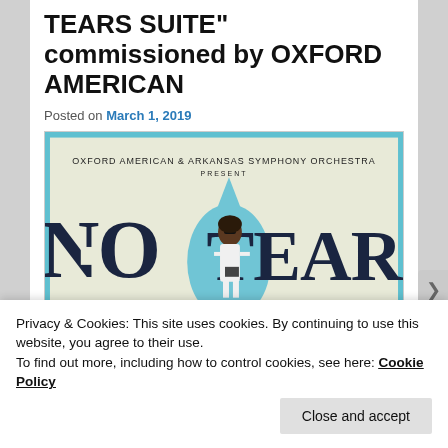TEARS SUITE" commissioned by OXFORD AMERICAN
Posted on March 1, 2019
[Figure (illustration): Concert poster for Oxford American & Arkansas Symphony Orchestra presenting 'No Tears' — shows large stylized text 'NO TEARS' with an illustrated Black woman in a white dress holding a book, standing in front of a large blue teardrop shape, on a cream background with a light blue border.]
Privacy & Cookies: This site uses cookies. By continuing to use this website, you agree to their use.
To find out more, including how to control cookies, see here: Cookie Policy
Close and accept